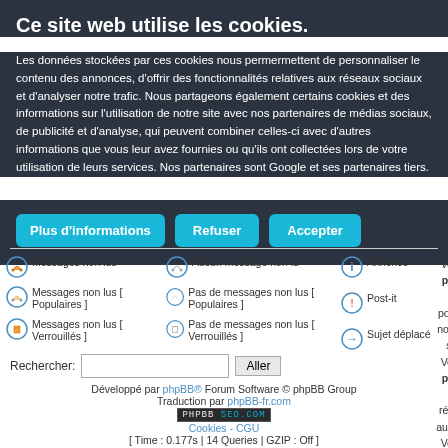Ce site web utilise les cookies.
Les données stockées par ces cookies nous permermettent de personnaliser le contenu des annonces, d'offrir des fonctionnalités relatives aux réseaux sociaux et d'analyser notre trafic. Nous partageons également certains cookies et des informations sur l'utilisation de notre site avec nos partenaires de médias sociaux, de publicité et d'analyse, qui peuvent combiner celles-ci avec d'autres informations que vous leur avez fournies ou qu'ils ont collectées lors de votre utilisation de leurs services. Nos partenaires sont Google et ses partenaires tiers.
Plus d'informations
Refuser
Accepter
[Figure (infographic): Forum legend icons and labels: Messages non lus, Aucun message non lu, Annonce, Messages non lus [Populaires], Pas de messages non lus [Populaires], Post-it, Messages non lus [Verrouillés], Pas de messages non lus [Verrouillés], Sujet déplacé, with permissions column]
Vous ne pouvez pas poster de nouveaux sujets Vous ne pouvez pas répondre aux sujets Vous ne pouvez pas éditer vos messages Vous ne pouvez pas supprimer vos messages
Rechercher:
Développé par phpBB® Forum Software © phpBB Group
Traduction par phpBB-fr.com
PHPBB SEO.COM
Cookies - CGU
[ Time : 0.177s | 14 Queries | GZIP : Off ]